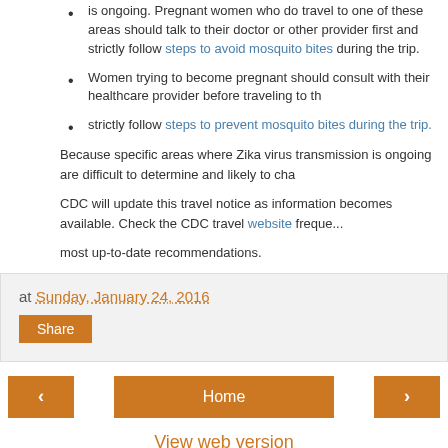is ongoing. Pregnant women who do travel to one of these areas should talk to their doctor or other provider first and strictly follow steps to avoid mosquito bites during the trip.
Women trying to become pregnant should consult with their healthcare provider before traveling to the area and strictly follow steps to prevent mosquito bites during the trip.
Because specific areas where Zika virus transmission is ongoing are difficult to determine and likely to cha...
CDC will update this travel notice as information becomes available. Check the CDC travel website frequently for most up-to-date recommendations.
at Sunday, January 24, 2016
Share
Home
View web version
Powered by Blogger.